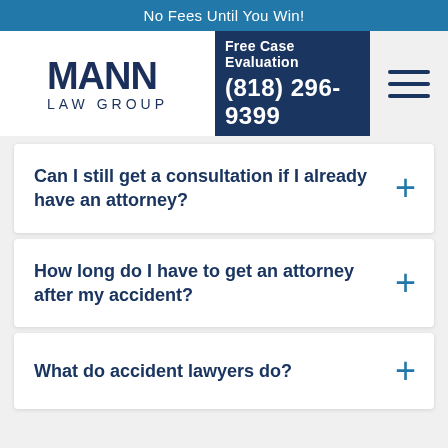No Fees Until You Win!
[Figure (logo): Mann Law Group logo with bold MANN text and LAW GROUP subtitle]
Free Case Evaluation
(818) 296-9399
Can I still get a consultation if I already have an attorney?
How long do I have to get an attorney after my accident?
What do accident lawyers do?